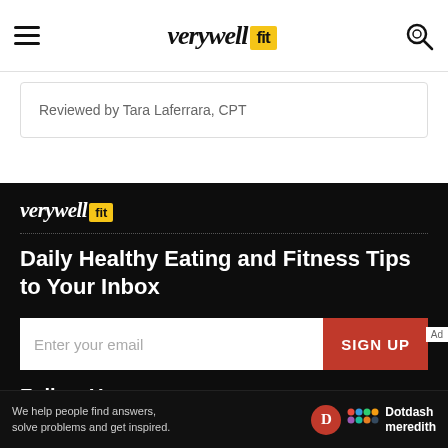verywell fit
Reviewed by Tara Laferrara, CPT
[Figure (logo): Verywell Fit logo in footer — white italic text 'verywell' with yellow badge 'fit']
Daily Healthy Eating and Fitness Tips to Your Inbox
Enter your email  SIGN UP
Follow Us
[Figure (other): Social media icons: Facebook, Pinterest, and one more circular dark icon]
We help people find answers, solve problems and get inspired.
[Figure (logo): Dotdash Meredith logo with red D circle and colorful dots]